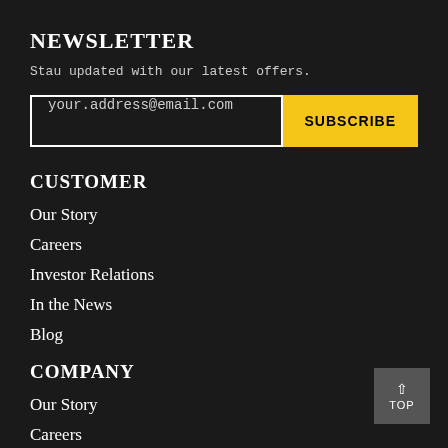NEWSLETTER
Stau updated with our latest offers.
[Figure (other): Email subscription input field with placeholder 'your.address@email.com' and a yellow SUBSCRIBE button]
CUSTOMER
Our Story
Careers
Investor Relations
In the News
Blog
COMPANY
Our Story
Careers